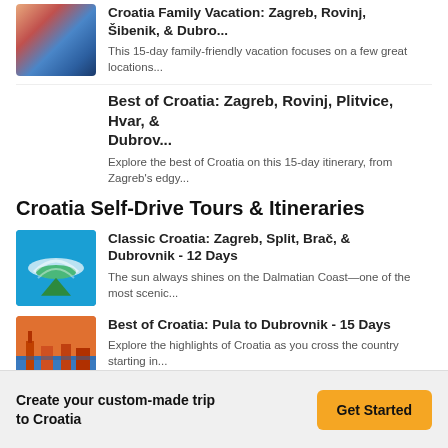[Figure (photo): Coastal town with colorful buildings and blue water]
Croatia Family Vacation: Zagreb, Rovinj, Šibenik, & Dubro...
This 15-day family-friendly vacation focuses on a few great locations...
Best of Croatia: Zagreb, Rovinj, Plitvice, Hvar, & Dubrov...
Explore the best of Croatia on this 15-day itinerary, from Zagreb's edgy...
Croatia Self-Drive Tours & Itineraries
[Figure (photo): Aerial view of beach with turquoise water and green island]
Classic Croatia: Zagreb, Split, Brač, & Dubrovnik - 12 Days
The sun always shines on the Dalmatian Coast—one of the most scenic...
[Figure (photo): City waterfront at sunset with orange sky]
Best of Croatia: Pula to Dubrovnik - 15 Days
Explore the highlights of Croatia as you cross the country starting in...
[Figure (photo): Partial view of coastal area]
Istria to Dubrovnik: Land & Sea - 12 Days
Create your custom-made trip to Croatia
Get Started